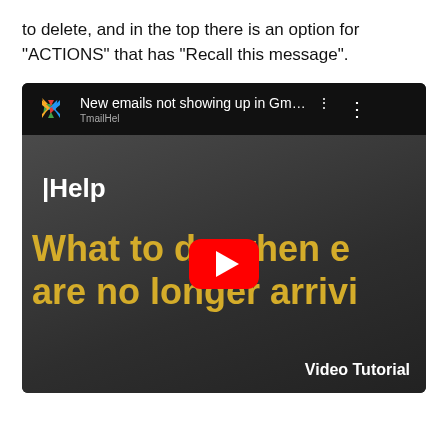to delete, and in the top there is an option for "ACTIONS" that has "Recall this message".
[Figure (screenshot): Screenshot of a YouTube video preview showing a video titled 'New emails not showing up in Gm...' from the TmailHelp channel. The video thumbnail shows large yellow text reading 'What to do when e are no longer arrivi' with a red YouTube play button in the center. Bottom right shows 'Video Tutorial' text.]